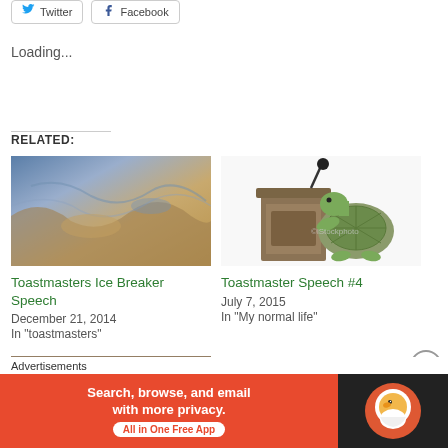[Figure (screenshot): Twitter and Facebook share buttons]
Loading...
RELATED:
[Figure (photo): Close-up photo of rock or ice formation with blue and golden tones]
Toastmasters Ice Breaker Speech
December 21, 2014
In "toastmasters"
[Figure (illustration): Cartoon turtle standing at a podium with microphone]
Toastmaster Speech #4
July 7, 2015
In "My normal life"
[Figure (screenshot): Partial image strip at bottom]
[Figure (screenshot): DuckDuckGo advertisement banner - Search, browse, and email with more privacy. All in One Free App]